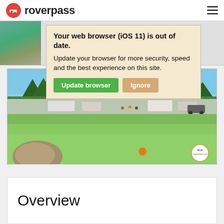roverpass
Your web browser (iOS 11) is out of date. Update your browser for more security, speed and the best experience on this site.
[Figure (photo): Campground photo showing green grass field with RVs and trees in background]
Overview